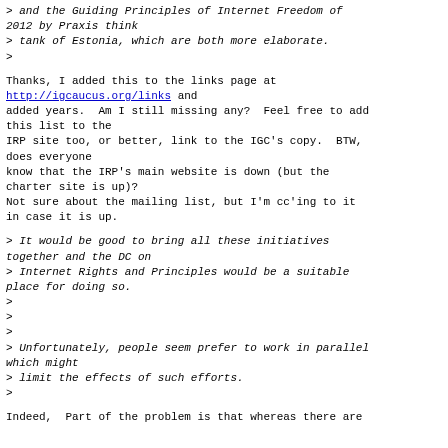> and the Guiding Principles of Internet Freedom of 2012 by Praxis think
> tank of Estonia, which are both more elaborate.
>
Thanks, I added this to the links page at http://igcaucus.org/links and added years.  Am I still missing any?  Feel free to add this list to the IRP site too, or better, link to the IGC's copy.  BTW, does everyone know that the IRP's main website is down (but the charter site is up)? Not sure about the mailing list, but I'm cc'ing to it in case it is up.
> It would be good to bring all these initiatives together and the DC on
> Internet Rights and Principles would be a suitable place for doing so.
>
>
>
> Unfortunately, people seem prefer to work in parallel which might
> limit the effects of such efforts.
>
Indeed,  Part of the problem is that whereas there are